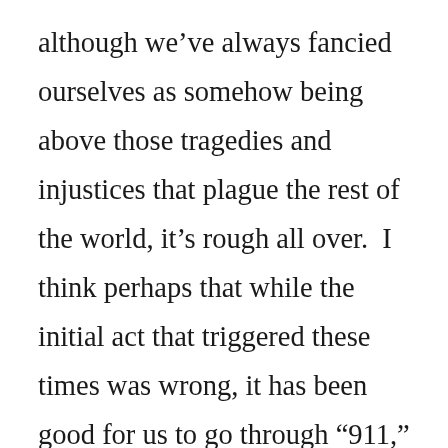although we've always fancied ourselves as somehow being above those tragedies and injustices that plague the rest of the world, it's rough all over.  I think perhaps that while the initial act that triggered these times was wrong, it has been good for us to go through “911,” and the relation that has b...